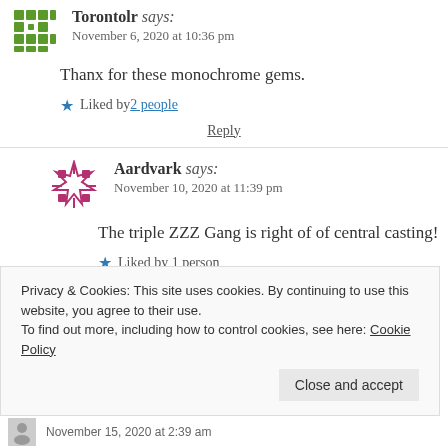Torontolr says: November 6, 2020 at 10:36 pm
Thanx for these monochrome gems.
Liked by 2 people
Reply
Aardvark says: November 10, 2020 at 11:39 pm
The triple ZZZ Gang is right of of central casting!
Liked by 1 person
Privacy & Cookies: This site uses cookies. By continuing to use this website, you agree to their use.
To find out more, including how to control cookies, see here: Cookie Policy
Close and accept
November 15, 2020 at 2:39 am